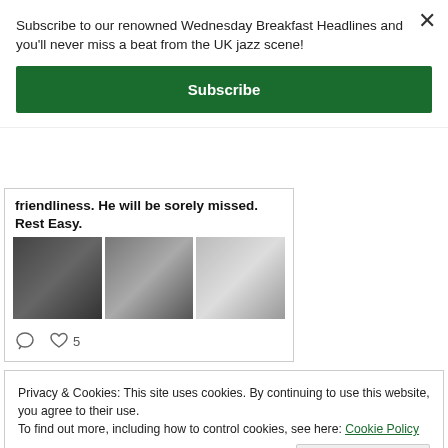Subscribe to our renowned Wednesday Breakfast Headlines and you'll never miss a beat from the UK jazz scene!
Subscribe
friendliness. He will be sorely missed. Rest Easy.
[Figure (photo): Three photos: group of people standing, people in classroom, handwritten list/book]
5
Privacy & Cookies: This site uses cookies. By continuing to use this website, you agree to their use.
To find out more, including how to control cookies, see here: Cookie Policy
Close and accept
Hall Birmingham